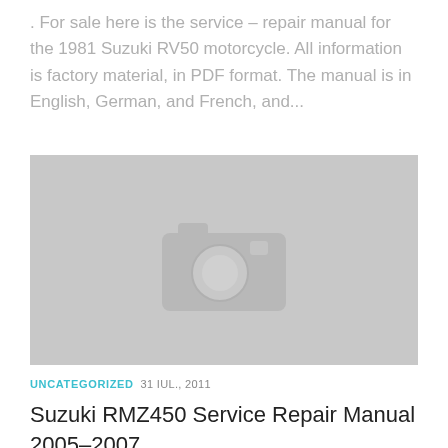. For sale here is the service – repair manual for the 1981 Suzuki RV50 motorcycle. All information is factory material, in PDF format. The manual is in English, German, and French, and...
[Figure (photo): Placeholder image with a camera icon on a grey background, representing a missing thumbnail image for the listing.]
UNCATEGORIZED  31 IUL., 2011
Suzuki RMZ450 Service Repair Manual 2005–2007